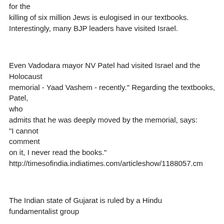for the killing of six million Jews is eulogised in our textbooks. Interestingly, many BJP leaders have visited Israel.
Even Vadodara mayor NV Patel had visited Israel and the Holocaust memorial - Yaad Vashem - recently." Regarding the textbooks, Patel, who admits that he was deeply moved by the memorial, says: "I cannot comment on it, I never read the books." http://timesofindia.indiatimes.com/articleshow/1188057.cm
The Indian state of Gujarat is ruled by a Hindu fundamentalist group